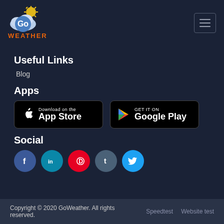[Figure (logo): GoWeather logo with cloud, sun and 'Go' text, with 'WEATHER' below in orange]
Useful Links
Blog
Apps
[Figure (other): Download on the App Store badge (black)]
[Figure (other): GET IT ON Google Play badge (black)]
Social
[Figure (other): Social media icons: Facebook, LinkedIn, Pinterest, Tumblr, Twitter]
Copyright © 2020 GoWeather. All rights reserved.   Speedtest   Website test